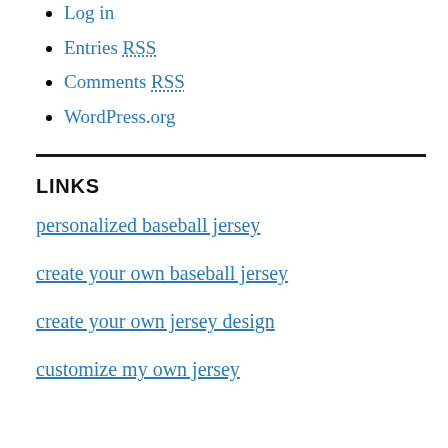Log in
Entries RSS
Comments RSS
WordPress.org
LINKS
personalized baseball jersey
create your own baseball jersey
create your own jersey design
customize my own jersey